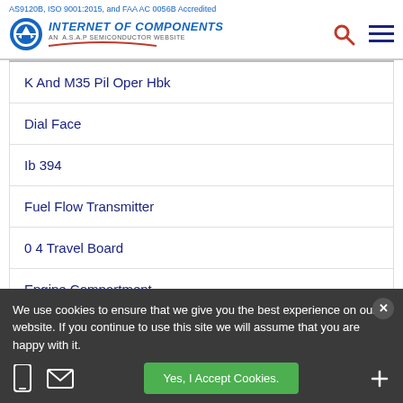AS9120B, ISO 9001:2015, and FAA AC 0056B Accredited — Internet of Components, An ASAP Semiconductor Website
K And M35 Pil Oper Hbk
Dial Face
Ib 394
Fuel Flow Transmitter
0 4 Travel Board
Engine Compartment
We use cookies to ensure that we give you the best experience on our website. If you continue to use this site we will assume that you are happy with it.
Yes, I Accept Cookies.